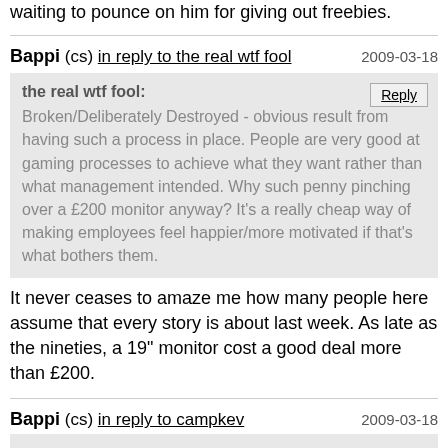waiting to pounce on him for giving out freebies.
Bappi (cs) in reply to the real wtf fool  2009-03-18
the real wtf fool: Broken/Deliberately Destroyed - obvious result from having such a process in place. People are very good at gaming processes to achieve what they want rather than what management intended. Why such penny pinching over a £200 monitor anyway? It's a really cheap way of making employees feel happier/more motivated if that's what bothers them.
It never ceases to amaze me how many people here assume that every story is about last week. As late as the nineties, a 19" monitor cost a good deal more than £200.
Bappi (cs) in reply to campkev  2009-03-18